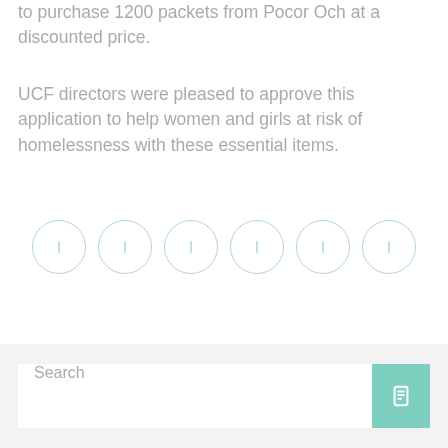to purchase 1200 packets from Pocor Och at a discounted price.
UCF directors were pleased to approve this application to help women and girls at risk of homelessness with these essential items.
[Figure (other): Six social media icon circles with teal/mint colored borders arranged in a horizontal row]
[Figure (other): Search bar with placeholder text 'Search' and a teal search button with magnifying glass icon]